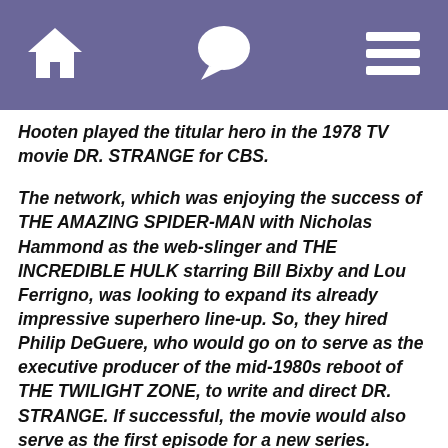Home | Chat | Menu
Hooten played the titular hero in the 1978 TV movie DR. STRANGE for CBS.
The network, which was enjoying the success of THE AMAZING SPIDER-MAN with Nicholas Hammond as the web-slinger and THE INCREDIBLE HULK starring Bill Bixby and Lou Ferrigno, was looking to expand its already impressive superhero line-up. So, they hired Philip DeGuere, who would go on to serve as the executive producer of the mid-1980s reboot of THE TWILIGHT ZONE, to write and direct DR. STRANGE. If successful, the movie would also serve as the first episode for a new series.
In the movie, a wise old sorcerer must pass along his ancient powers to the psychiatric resident Stephen Strange before the Queen of the Sorcerers Morgan Le Fay can kill him. Jessica Walter, who is best known as the overbearing matriarch Lucille Bluth on the hit cult